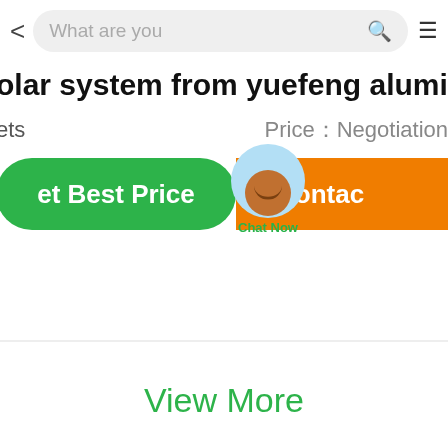< What are you [search] ≡
olar system from yuefeng alum
ets   Price：Negotiation
[Figure (screenshot): Two action buttons: green 'et Best Price' button on left, orange 'Contac' button on right, with a chat bubble overlay showing 'Chat Now']
| uantity | 10Sets |
View More